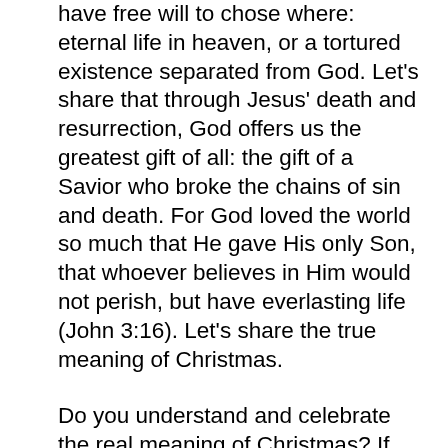have free will to chose where: eternal life in heaven, or a tortured existence separated from God. Let's share that through Jesus' death and resurrection, God offers us the greatest gift of all: the gift of a Savior who broke the chains of sin and death. For God loved the world so much that He gave His only Son, that whoever believes in Him would not perish, but have everlasting life (John 3:16). Let's share the true meaning of Christmas.
Do you understand and celebrate the real meaning of Christmas? If you haven't yet received Jesus and trusted Him as your personal Savior, you are truly missing out! To accept the free gift of salvation, I invite you to pray something like this: “Father God, thank You for loving me. I believe that You sent Your Son Jesus to earth, and I believe He died on the cross and rose again, as a payment for my sins. I accept the gift of eternal life through Jesus, and ask You to help